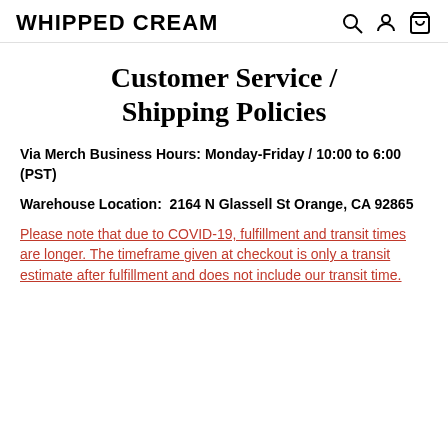WHIPPED CREAM
Customer Service / Shipping Policies
Via Merch Business Hours: Monday-Friday / 10:00 to 6:00 (PST)
Warehouse Location:  2164 N Glassell St Orange, CA 92865
Please note that due to COVID-19, fulfillment and transit times are longer. The timeframe given at checkout is only a transit estimate after fulfillment and does not include our transit time.